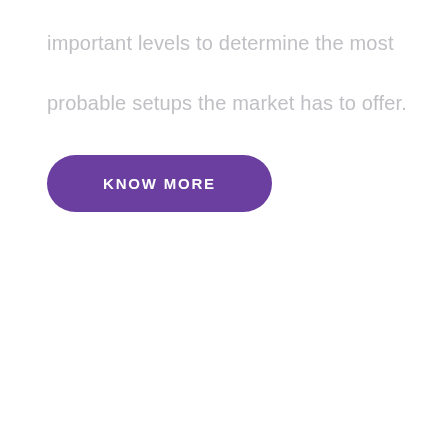important levels to determine the most probable setups the market has to offer.
[Figure (other): A purple rounded pill-shaped button with white uppercase text reading 'KNOW MORE']